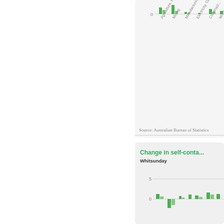[Figure (bar-chart): Partial bar chart showing industry employment changes, clipped at right edge. X-axis shows industry names rotated diagonally. Y-axis shows value of 0 visible.]
Source: Australian Bureau of Statistics
Change in self-conta...
Whitsunday
[Figure (bar-chart): Partial bar chart showing changes in self-contained accommodation for Whitsunday. Y-axis shows values 0 and 5. Bars visible at bottom of the view.]